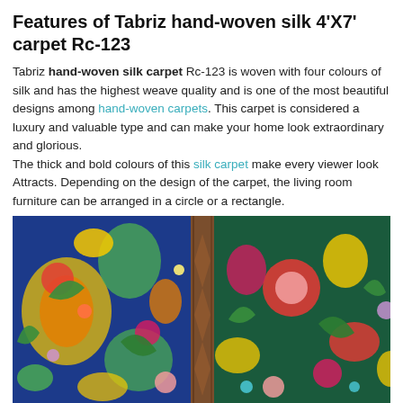Features of Tabriz hand-woven silk 4'X7' carpet Rc-123
Tabriz hand-woven silk carpet Rc-123 is woven with four colours of silk and has the highest weave quality and is one of the most beautiful designs among hand-woven carpets. This carpet is considered a luxury and valuable type and can make your home look extraordinary and glorious.
The thick and bold colours of this silk carpet make every viewer look Attracts. Depending on the design of the carpet, the living room furniture can be arranged in a circle or a rectangle.
[Figure (photo): Photo of Tabriz hand-woven silk carpets showing three panels: left panel with dark blue background and colorful floral/botanical patterns in yellow, green, red and pink; middle panel showing a brown/tan leather or fabric border; right panel with dark teal/green background with vibrant floral patterns in red, pink, yellow and white.]